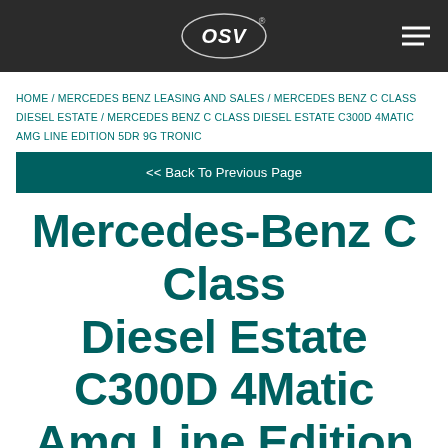OSV
HOME / MERCEDES BENZ LEASING AND SALES / MERCEDES BENZ C CLASS DIESEL ESTATE / MERCEDES BENZ C CLASS DIESEL ESTATE C300D 4MATIC AMG LINE EDITION 5DR 9G TRONIC
<< Back To Previous Page
Mercedes-Benz C Class Diesel Estate C300D 4Matic Amg Line Edition 5Dr 9G Tronic